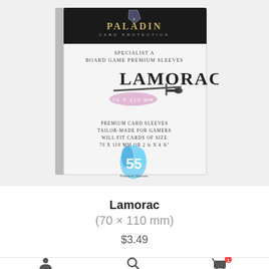[Figure (photo): Paladin Card Protection - Lamorac 70x110mm board game premium sleeves product packaging. White box with dark header showing Paladin logo and sword illustration. Text on box: Specialist A Board Game Premium Sleeves, Lamorac, 70x110mm, Premium Card Sleeves Tailor-Made For Gamers Will Fit Cards Of Size 70x110mm or 2 3/4 x 4 3/8 inch, 55 Premium Sleeves.]
Lamorac
(70 × 110 mm)
$3.49